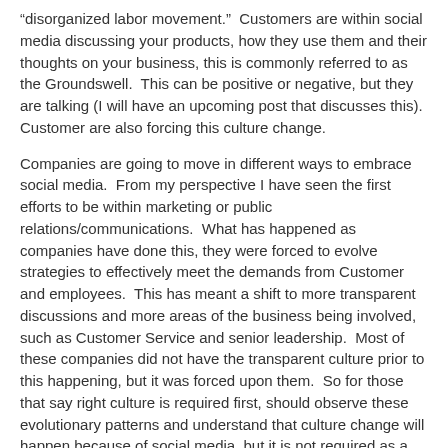“disorganized labor movement.”  Customers are within social media discussing your products, how they use them and their thoughts on your business, this is commonly referred to as the Groundswell.  This can be positive or negative, but they are talking (I will have an upcoming post that discusses this).  Customer are also forcing this culture change.
Companies are going to move in different ways to embrace social media.  From my perspective I have seen the first efforts to be within marketing or public relations/communications.  What has happened as companies have done this, they were forced to evolve strategies to effectively meet the demands from Customer and employees.  This has meant a shift to more transparent discussions and more areas of the business being involved, such as Customer Service and senior leadership.  Most of these companies did not have the transparent culture prior to this happening, but it was forced upon them.  So for those that say right culture is required first, should observe these evolutionary patterns and understand that culture change will happen because of social media, but it is not required as a point of entry.
Here is what is really required.  First it requires visionaries that can see benefits within social media.  It really does not matter from which silo it comes from.  This also does not require full support from everyone, but it will require at least one high level supporter.  The reason you need support from one high level person is because as this evolves, some of the old school leaders will be scared and may try to cause the organization to take steps back.  Fear of something new is natural, and